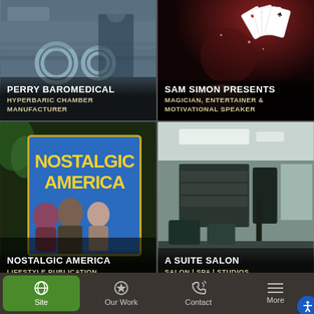[Figure (screenshot): Grid of portfolio/client cards. Top-left: Perry Baromedical (Hyperbaric Chamber Manufacturer) with industrial equipment background. Top-right: Sam Simon Presents (Magician, Entertainer & Motivational Speaker) with playing cards on dark red background. Middle-left: Nostalgic America (Lifestyle Publication) with retro poster featuring classic Hollywood figures. Middle-right: A Suite Salon (Salon | Spa | Studios) with interior photo of a modern salon. Bottom row partially visible.]
PERRY BAROMEDICAL
HYPERBARIC CHAMBER MANUFACTURER
SAM SIMON PRESENTS
MAGICIAN, ENTERTAINER & MOTIVATIONAL SPEAKER
NOSTALGIC AMERICA
LIFESTYLE PUBLICATION
A SUITE SALON
SALON | SPA | STUDIOS
Site  Our Work  Contact  More